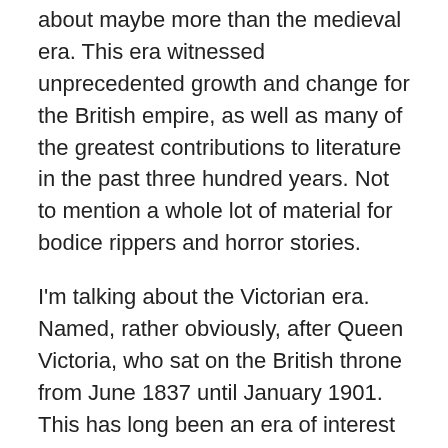about maybe more than the medieval era. This era witnessed unprecedented growth and change for the British empire, as well as many of the greatest contributions to literature in the past three hundred years. Not to mention a whole lot of material for bodice rippers and horror stories.
I'm talking about the Victorian era. Named, rather obviously, after Queen Victoria, who sat on the British throne from June 1837 until January 1901. This has long been an era of interest to authors of a number of different genres, as well as among the general populace. Every year, hundreds of works of fiction come out set in that era: novels and short stories, movies, TV shows, comic books. We also have at least a couple of new books on any given topic of the era, and there are Victorian enthusiasts all over the world who research that age like crazy and even